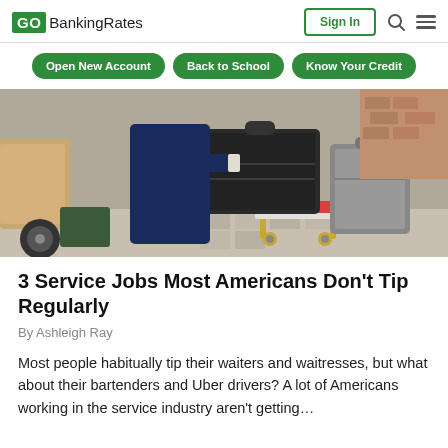GOBankingRates | Sign In | Search | Menu
Open New Account
Back to School
Know Your Credit
[Figure (photo): Hotel bellhop in a navy uniform loading black luggage onto a red and gold luggage cart outside.]
3 Service Jobs Most Americans Don't Tip Regularly
By Ashleigh Ray
Most people habitually tip their waiters and waitresses, but what about their bartenders and Uber drivers? A lot of Americans working in the service industry aren't getting…